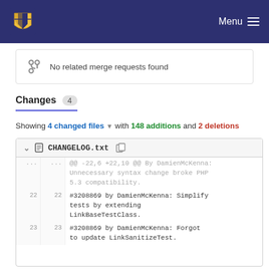Menu
No related merge requests found
Changes 4
Showing 4 changed files with 148 additions and 2 deletions
| old | new | code |
| --- | --- | --- |
| ... | ... | @@ -22,6 +22,10 @@ By DamienMcKenna: Unnecessary syntax change broke PHP 5.3 compatibility. |
| 22 | 22 | #3208869 by DamienMcKenna: Simplify tests by extending LinkBaseTestClass. |
| 23 | 23 | #3208869 by DamienMcKenna: Forgot to update LinkSanitizeTest. |